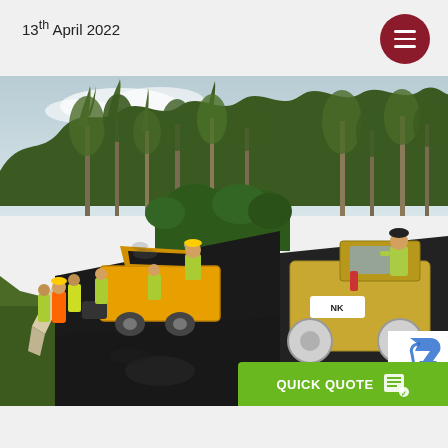13th April 2022
[Figure (photo): Road paving crew with asphalt paver and roller compactor laying fresh asphalt on a curved road surrounded by trees and hedges. Workers in high-visibility gear visible. Branded NK roller machine on right with operator. Green trees and overcast sky in background.]
QUICK QUOTE